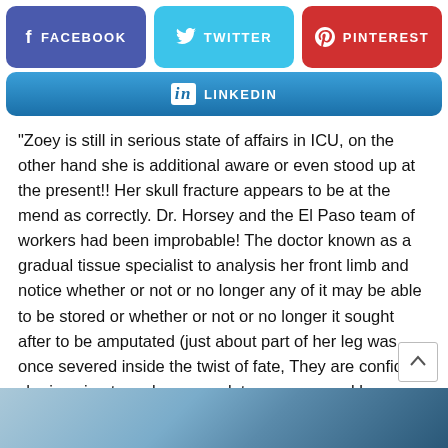[Figure (screenshot): Social media share buttons: Facebook (purple), Twitter (light blue), Pinterest (red) in a row]
[Figure (screenshot): LinkedIn share button (blue gradient) spanning full width]
Zoey is still in serious state of affairs in ICU, on the other hand she is additional aware or even stood up at the present!! Her skull fracture appears to be at the mend as correctly. Dr. Horsey and the El Paso team of workers had been improbable! The doctor known as a gradual tissue specialist to analysis her front limb and notice whether or not or no longer any of it may be able to be stored or whether or not or no longer it sought after to be amputated (just about part of her leg was once severed inside the twist of fate, They are confident she is going to make a complete recovery and keep a happy lifestyles.").
[Figure (photo): Partial photo at bottom of page, appears to show a person or medical scene with blue tones]